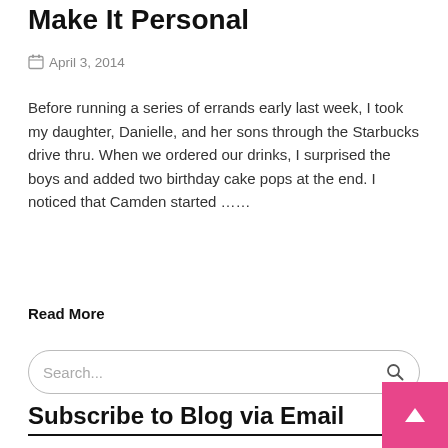Make It Personal
April 3, 2014
Before running a series of errands early last week, I took my daughter, Danielle, and her sons through the Starbucks drive thru. When we ordered our drinks, I surprised the boys and added two birthday cake pops at the end. I noticed that Camden started ……
Read More
Search...
Subscribe to Blog via Email
Enter your email address to subscribe to this blog and receive notifications of new posts by email.
Email Address